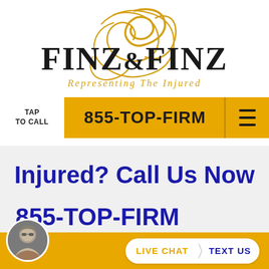[Figure (logo): Finz & Finz law firm logo with gold script monogram and text 'FINZ&FINZ Representing The Injured']
TAP TO CALL
855-TOP-FIRM
Injured? Call Us Now
855-TOP-FIRM
LIVE CHAT  TEXT US